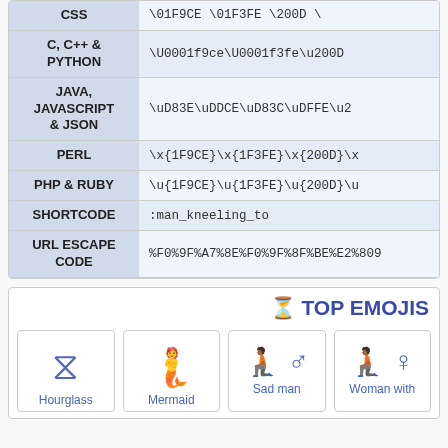|  | Code |
| --- | --- |
| CSS | \01F9CE \01F3FE \200D \... |
| C, C++ & PYTHON | \U0001f9ce\U0001f3fe\u200D... |
| JAVA, JAVASCRIPT & JSON | \uD83E\uDDCE\uD83C\uDFFE\u2... |
| PERL | \x{1F9CE}\x{1F3FE}\x{200D}\x... |
| PHP & RUBY | \u{1F9CE}\u{1F3FE}\u{200D}\u... |
| SHORTCODE | :man_kneeling_to... |
| URL ESCAPE CODE | %F0%9F%A7%8E%F0%9F%8F%BE%E2%80%9... |
⏳ TOP EMOJIS
[Figure (other): Emoji card: Hourglass emoji icon]
Hourglass
[Figure (other): Emoji card: Mermaid emoji icon]
Mermaid
[Figure (other): Emoji card: Sad man emoji icon with male sign]
Sad man
[Figure (other): Emoji card: Woman with female sign emoji icon]
Woman with